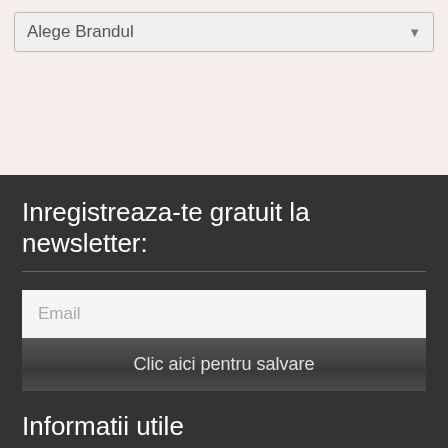Alege Brandul
Inregistreaza-te gratuit la newsletter:
Email
Clic aici pentru salvare
Informatii utile
This website uses cookies to improve your experience. We'll assume you're ok with this, but you can opt-out if you wish.
Cookie settings
ACCEPT